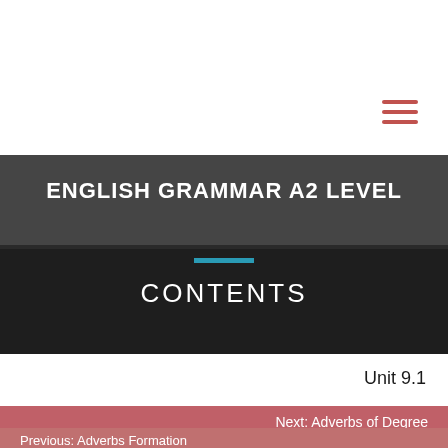[Figure (other): Hamburger menu icon with three horizontal red/pink lines in top-right area]
ENGLISH GRAMMAR A2 LEVEL
CONTENTS
Unit 9.1
Next: Adverbs of Degree
Previous: Adverbs Formation